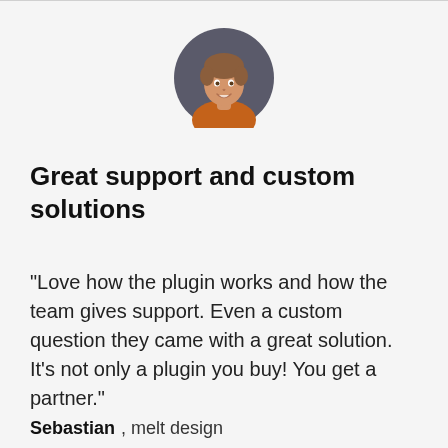[Figure (photo): Circular avatar photo of a smiling young man with short hair wearing an orange shirt, set against a dark background.]
Great support and custom solutions
“Love how the plugin works and how the team gives support. Even a custom question they came with a great solution. It’s not only a plugin you buy! You get a partner.”
Sebastian, melt design